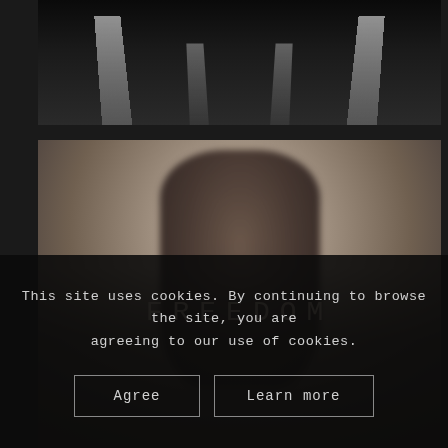[Figure (photo): Black and white aerial or perspective photograph of a road/parking surface with white lane markings converging toward the top center]
[Figure (photo): Blurry grayscale/sepia photograph of a person with arms raised or outstretched against a white wall, motion blur effect]
FREEDOM
This site uses cookies. By continuing to browse the site, you are agreeing to our use of cookies.
Agree   Learn more